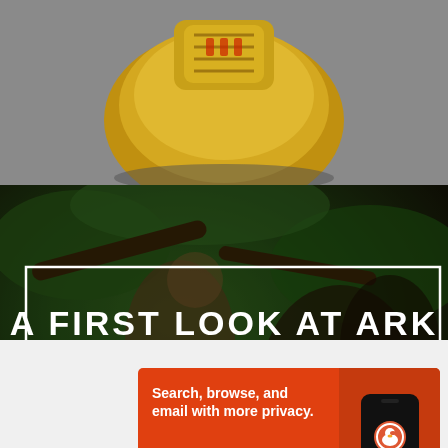[Figure (photo): Gold artifact/trophy with decorative markings, shown from a low angle, on a grey background]
[Figure (photo): Action scene with a person and a large creature in a jungle/forest setting, with overlaid title text reading A FIRST LOOK AT ARK LOST IN TIME BOOK 3!]
A FIRST LOOK AT ARK LOST IN TIME BOOK 3!
Advertisements
[Figure (screenshot): DuckDuckGo advertisement banner on orange background. Text: Search, browse, and email with more privacy. All in One Free App. Shows a phone with DuckDuckGo logo.]